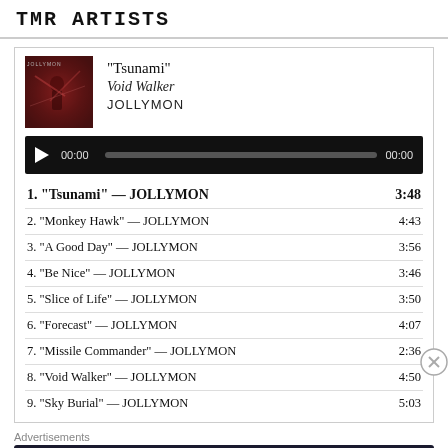TMR ARTISTS
[Figure (screenshot): Album art for Void Walker by JOLLYMON — dark reddish background with a figure]
"Tsunami"
Void Walker
JOLLYMON
[Figure (other): Audio player bar with play button, time 00:00, progress track, and end time 00:00]
1. "Tsunami" — JOLLYMON   3:48
2. "Monkey Hawk" — JOLLYMON   4:43
3. "A Good Day" — JOLLYMON   3:56
4. "Be Nice" — JOLLYMON   3:46
5. "Slice of Life" — JOLLYMON   3:50
6. "Forecast" — JOLLYMON   4:07
7. "Missile Commander" — JOLLYMON   2:36
8. "Void Walker" — JOLLYMON   4:50
9. "Sky Burial" — JOLLYMON   5:03
Advertisements
[Figure (infographic): Advertisement banner: Launch your online course with WordPress — Learn More]